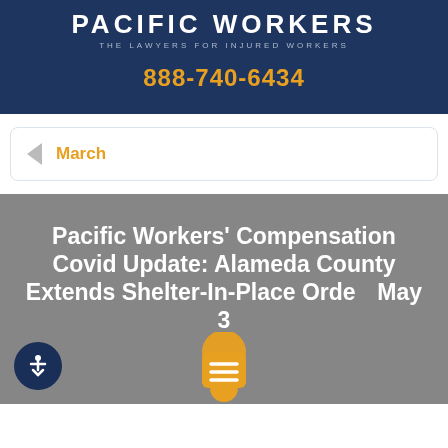PACIFIC WORKERS' THE LAWYERS FOR INJURED WORKERS
888-740-6434
March
Pacific Workers' Compensation Covid Update: Alameda County Extends Shelter-In-Place Order May 3